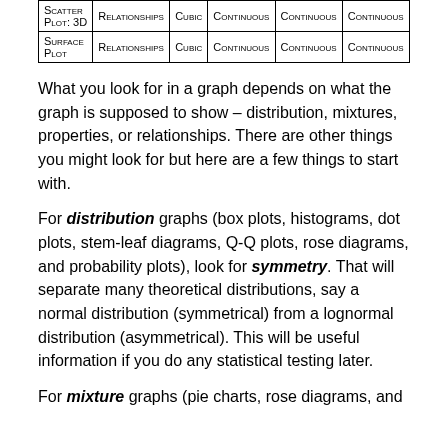|  | Relationships | Cubic | Continuous | Continuous | Continuous |
| --- | --- | --- | --- | --- | --- |
| Scatter Plot: 3D | Relationships | Cubic | Continuous | Continuous | Continuous |
| Surface Plot | Relationships | Cubic | Continuous | Continuous | Continuous |
What you look for in a graph depends on what the graph is supposed to show – distribution, mixtures, properties, or relationships. There are other things you might look for but here are a few things to start with.
For distribution graphs (box plots, histograms, dot plots, stem-leaf diagrams, Q-Q plots, rose diagrams, and probability plots), look for symmetry. That will separate many theoretical distributions, say a normal distribution (symmetrical) from a lognormal distribution (asymmetrical). This will be useful information if you do any statistical testing later.
For mixture graphs (pie charts, rose diagrams, and